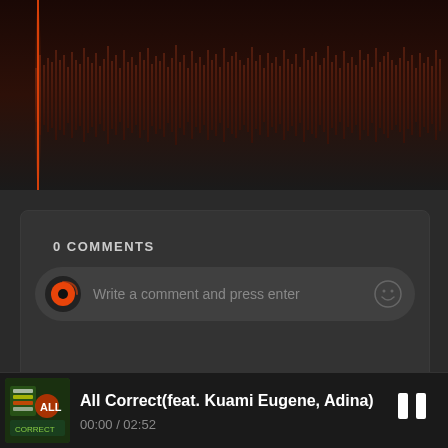[Figure (other): Audio waveform visualization with dark red/brown background. A vertical orange-red playhead line is visible near the left side. The waveform bars are dark brownish-red, varying in height across the full width.]
0 COMMENTS
Write a comment and press enter
All Correct(feat. Kuami Eugene, Adina)
00:00 / 02:52